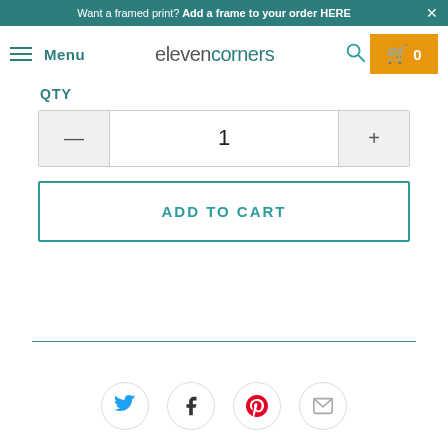Want a framed print? Add a frame to your order HERE ×
Menu  elevencorners  🔍  🛒 0
QTY
1
ADD TO CART
[Figure (other): Social sharing icons row: Twitter, Facebook, Pinterest, Email]
[Figure (other): Horizontal divider line]